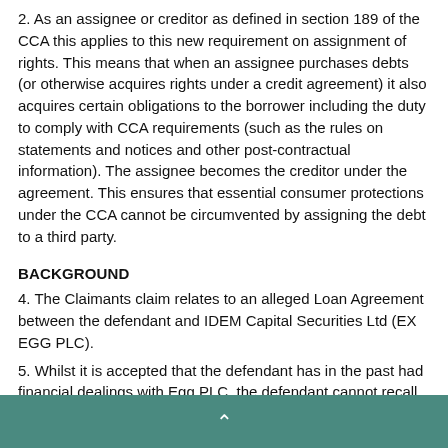2. As an assignee or creditor as defined in section 189 of the CCA this applies to this new requirement on assignment of rights. This means that when an assignee purchases debts (or otherwise acquires rights under a credit agreement) it also acquires certain obligations to the borrower including the duty to comply with CCA requirements (such as the rules on statements and notices and other post-contractual information). The assignee becomes the creditor under the agreement. This ensures that essential consumer protections under the CCA cannot be circumvented by assigning the debt to a third party.
BACKGROUND
4. The Claimants claim relates to an alleged Loan Agreement between the defendant and IDEM Capital Securities Ltd (EX EGG PLC).
5. Whilst it is accepted that the defendant has in the past had financial dealings with Egg PLC, the defendant cannot recall with precision the alleged debt the claimant refers to and has no knowledge of IDEM Capital Securities Ltd.
^